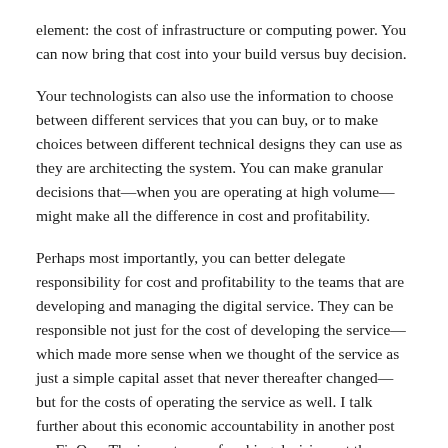element: the cost of infrastructure or computing power. You can now bring that cost into your build versus buy decision.
Your technologists can also use the information to choose between different services that you can buy, or to make choices between different technical designs they can use as they are architecting the system. You can make granular decisions that—when you are operating at high volume—might make all the difference in cost and profitability.
Perhaps most importantly, you can better delegate responsibility for cost and profitability to the teams that are developing and managing the digital service. They can be responsible not just for the cost of developing the service—which made more sense when we thought of the service as just a simple capital asset that never thereafter changed—but for the costs of operating the service as well. I talk further about this economic accountability in another post on FinOps. The importance of making decisions at the margins—that is, in terms of marginal costs and marginal revenues—in my post on Marginal Decisions.